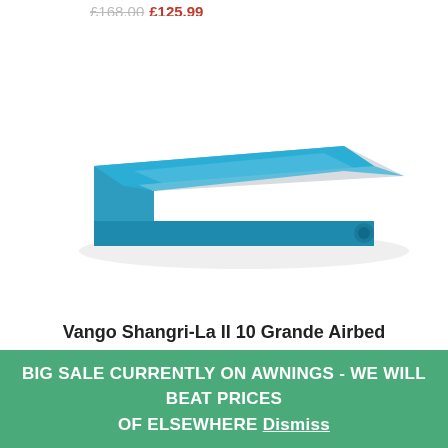£168.00 £125.99
[Figure (photo): Vango Shangri-La II 10 Grande Airbed product photo — a rectangular inflatable mattress with a light grey top surface and teal/blue sides, shown in perspective view on white background]
Vango Shangri-La II 10 Grande Airbed
£174.00 £129.00
This website uses cookies to improve your experience. We'll
BIG SALE CURRENTLY ON AWNINGS - WE WILL BEAT PRICES OF ELSEWHERE Dismiss